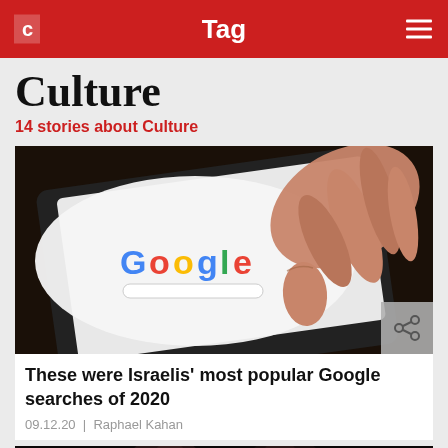Tag
Culture
14 stories about Culture
[Figure (photo): A hand touching a tablet screen displaying the Google search homepage, photographed in dark lighting.]
These were Israelis’ most popular Google searches of 2020
09.12.20 | Raphael Kahan
[Figure (photo): Two people photographed from below against a dark background, partially visible.]